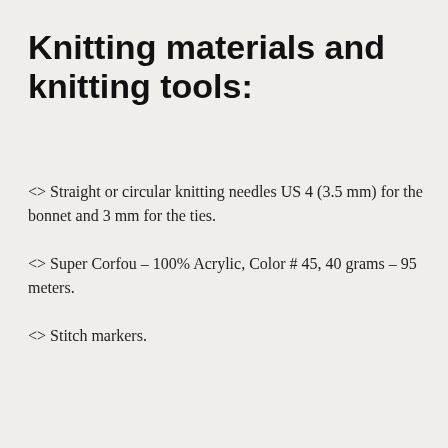Knitting materials and knitting tools:
<> Straight or circular knitting needles US 4 (3.5 mm) for the bonnet and 3 mm for the ties.
<> Super Corfou – 100% Acrylic, Color # 45, 40 grams – 95 meters.
<> Stitch markers.